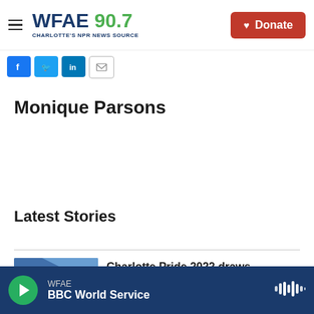WFAE 90.7 — Charlotte's NPR News Source | Donate
[Figure (screenshot): Social sharing buttons: Facebook (blue), Twitter (blue), LinkedIn (blue), Email (white with border)]
Monique Parsons
Latest Stories
[Figure (photo): Thumbnail image for Charlotte Pride 2022 story, showing abstract blue diagonal shapes]
Charlotte Pride 2022 draws
WFAE — BBC World Service (player bar)